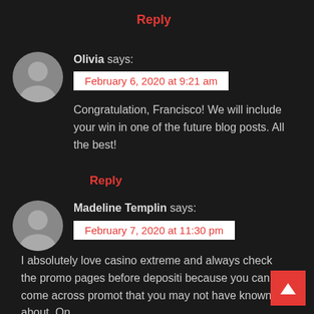Reply
Olivia says:
February 6, 2020 at 9:21 am
Congratulation, Francisco! We will include your win in one of the future blog posts. All the best!
Reply
Madeline Templin says:
February 7, 2020 at 11:30 pm
I absolutely love casino extreme and always check the promo pages before depositi because you can come across promot that you may not have known about. On